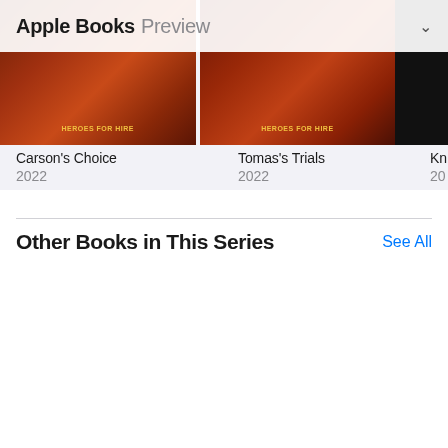Apple Books Preview
[Figure (photo): Book covers for Carson's Choice and Tomas's Trials, Heroes For Hire series, partially visible at top]
Carson's Choice
2022
Tomas's Trials
2022
Other Books in This Series
See All
[Figure (photo): Two book covers by Elle James (New York Times & USA Today Bestselling Author), partially visible third cover on right]